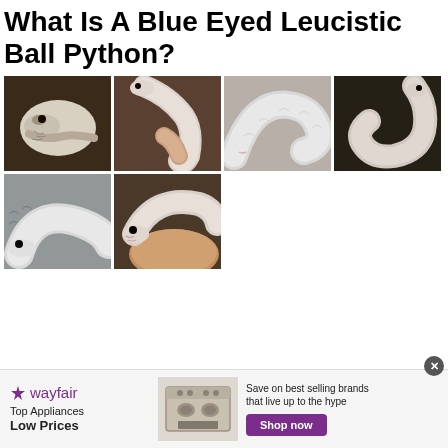What Is A Blue Eyed Leucistic Ball Python?
[Figure (photo): Grid of 6 photos showing white/leucistic ball pythons with dark eyes, various close-up shots of the snake's head and body]
Known as a bel ball python it is a white Ball python morph.
[Figure (other): Wayfair advertisement banner: 'Top Appliances Low Prices', showing a stove/range appliance image, 'Save on best selling brands that live up to the hype', Shop now button]